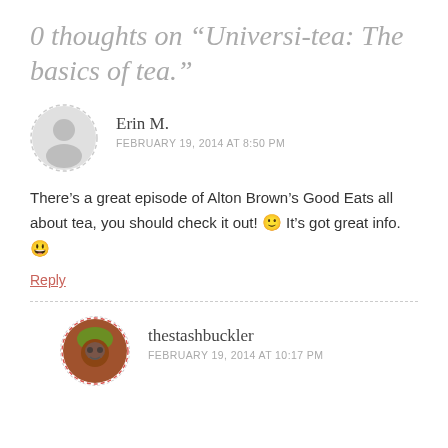0 thoughts on “Universi-tea: The basics of tea.”
Erin M.
FEBRUARY 19, 2014 AT 8:50 PM
There’s a great episode of Alton Brown’s Good Eats all about tea, you should check it out! 🙂 It’s got great info. 😃
Reply
thestashbuckler
FEBRUARY 19, 2014 AT 10:17 PM